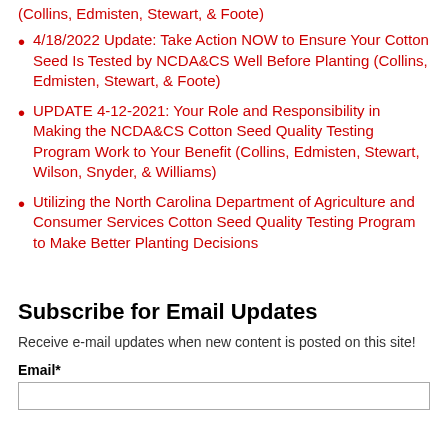(Collins, Edmisten, Stewart, & Foote)
4/18/2022 Update: Take Action NOW to Ensure Your Cotton Seed Is Tested by NCDA&CS Well Before Planting (Collins, Edmisten, Stewart, & Foote)
UPDATE 4-12-2021: Your Role and Responsibility in Making the NCDA&CS Cotton Seed Quality Testing Program Work to Your Benefit (Collins, Edmisten, Stewart, Wilson, Snyder, & Williams)
Utilizing the North Carolina Department of Agriculture and Consumer Services Cotton Seed Quality Testing Program to Make Better Planting Decisions
Subscribe for Email Updates
Receive e-mail updates when new content is posted on this site!
Email*